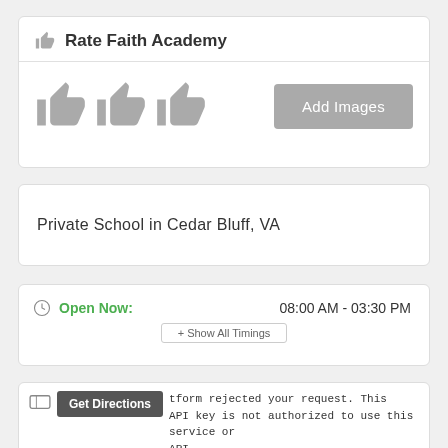Rate Faith Academy
[Figure (illustration): Three thumbs-up icons in gray, and an 'Add Images' gray button]
Private School in Cedar Bluff, VA
Open Now: 08:00 AM - 03:30 PM
+ Show All Timings
Get Directions  Google Maps Platform rejected your request. This API key is not authorized to use this service or API.